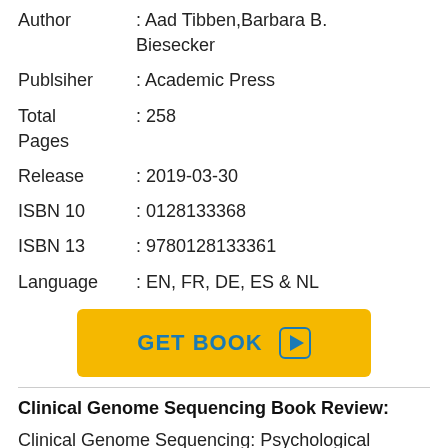Author : Aad Tibben,Barbara B. Biesecker
Publsiher : Academic Press
Total Pages : 258
Release : 2019-03-30
ISBN 10 : 0128133368
ISBN 13 : 9780128133361
Language : EN, FR, DE, ES & NL
[Figure (other): GET BOOK button with play icon in yellow/orange]
Clinical Genome Sequencing Book Review:
Clinical Genome Sequencing: Psychological